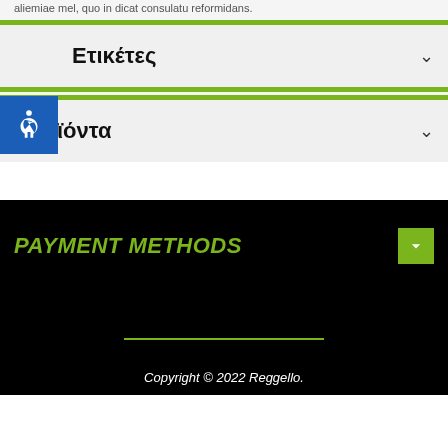aliemiae mel, quo in dicat consulatu reformidans.
Ετικέτες
Προϊόντα
PAYMENT METHODS
Copyright © 2022 Reggello.